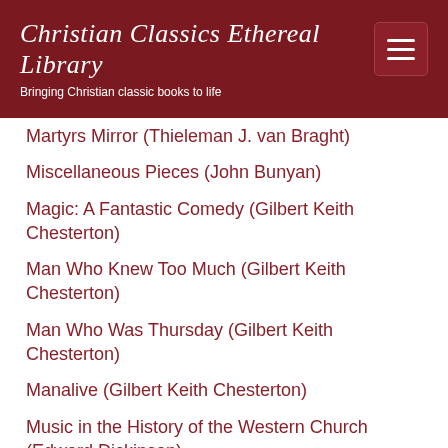Christian Classics Ethereal Library
Bringing Christian classic books to life
Martyrs Mirror (Thieleman J. van Braght)
Miscellaneous Pieces (John Bunyan)
Magic: A Fantastic Comedy (Gilbert Keith Chesterton)
Man Who Knew Too Much (Gilbert Keith Chesterton)
Man Who Was Thursday (Gilbert Keith Chesterton)
Manalive (Gilbert Keith Chesterton)
Music in the History of the Western Church (Edward Dickinson)
Monkey who Wouldn't Kill (Henry Drummond)
Meister Eckhart's Sermons (Johannes Eckhart) (classic)
Meister Eckharts Mystische Schriften: In Unsere Sprache Übertragen von Gustav Landauer (Johannes Eckhart) (German)